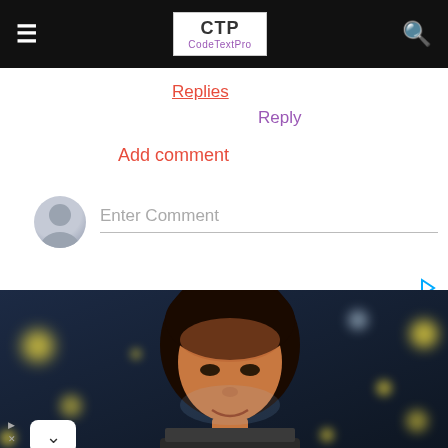CodeTextPro
Replies
Reply
Add comment
Enter Comment
[Figure (photo): Woman looking at laptop screen in dark environment with bokeh lights in background]
[Figure (infographic): Walgreens Photo advertisement: Delivered in as Little as 1 Hr, Walgreens Photo]